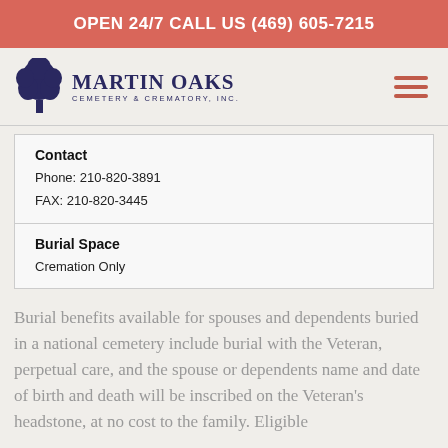OPEN 24/7 CALL US (469) 605-7215
[Figure (logo): Martin Oaks Cemetery & Crematory, Inc. logo with tree icon]
| Contact | Phone: 210-820-3891
FAX: 210-820-3445 |
| Burial Space | Cremation Only |
Burial benefits available for spouses and dependents buried in a national cemetery include burial with the Veteran, perpetual care, and the spouse or dependents name and date of birth and death will be inscribed on the Veteran's headstone, at no cost to the family. Eligible